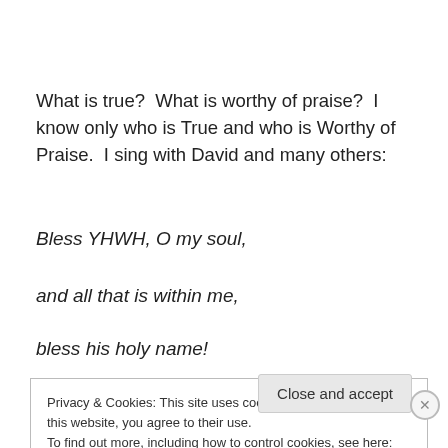What is true?  What is worthy of praise?  I know only who is True and who is Worthy of Praise.  I sing with David and many others:
Bless YHWH, O my soul,
and all that is within me,
bless his holy name!
Privacy & Cookies: This site uses cookies. By continuing to use this website, you agree to their use.
To find out more, including how to control cookies, see here: Cookie Policy
Close and accept